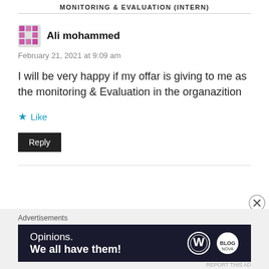MONITORING & EVALUATION (INTERN)
Ali mohammed
February 21, 2021 at 9:09 am
I will be very happy if my offar is giving to me as the monitoring & Evaluation in the organazition
Like
Reply
Advertisements
[Figure (other): WordPress advertisement banner with text 'Opinions. We all have them!' and WordPress logo]